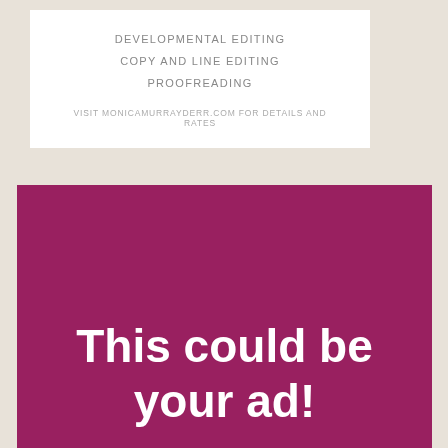DEVELOPMENTAL EDITING
COPY AND LINE EDITING
PROOFREADING
VISIT MONICAMURRAYDERR.COM FOR DETAILS AND RATES
[Figure (infographic): Purple/magenta advertisement box with large bold white text reading 'This could be your ad!']